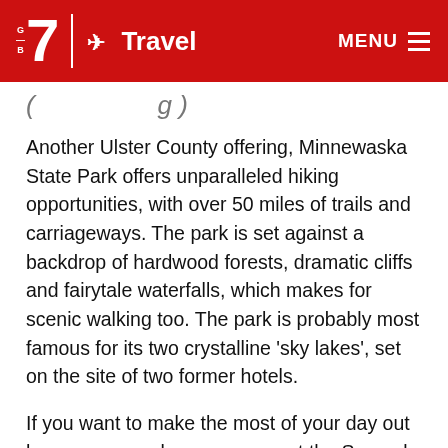7 Travel MENU
( … g )
Another Ulster County offering, Minnewaska State Park offers unparalleled hiking opportunities, with over 50 miles of trails and carriageways. The park is set against a backdrop of hardwood forests, dramatic cliffs and fairytale waterfalls, which makes for scenic walking too. The park is probably most famous for its two crystalline 'sky lakes', set on the site of two former hotels.
If you want to make the most of your day out here, you can also camp over at the Samuel Pryor Shawangunk Gateway Campground, around five minutes from the main entrance.